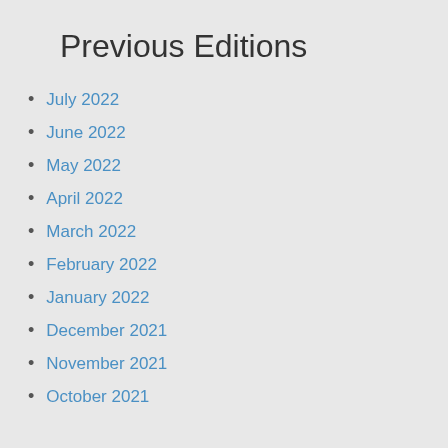Previous Editions
July 2022
June 2022
May 2022
April 2022
March 2022
February 2022
January 2022
December 2021
November 2021
October 2021